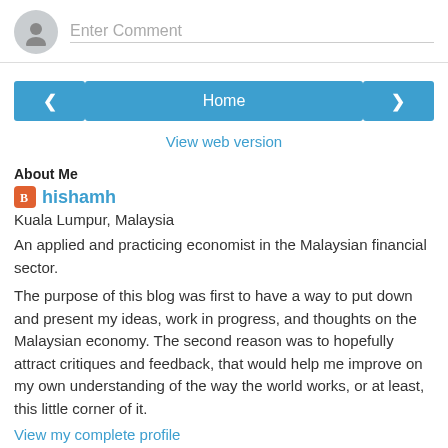Enter Comment
[Figure (illustration): Navigation buttons row with left arrow, Home button, and right arrow, all in blue]
View web version
About Me
hishamh
Kuala Lumpur, Malaysia
An applied and practicing economist in the Malaysian financial sector.
The purpose of this blog was first to have a way to put down and present my ideas, work in progress, and thoughts on the Malaysian economy. The second reason was to hopefully attract critiques and feedback, that would help me improve on my own understanding of the way the world works, or at least, this little corner of it.
View my complete profile